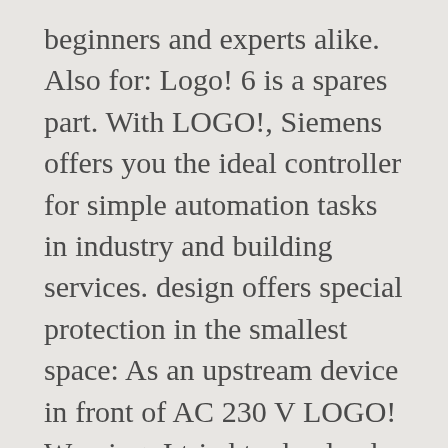beginners and experts alike. Also for: Logo! 6 is a spares part. With LOGO!, Siemens offers you the ideal controller for simple automation tasks in industry and building services. design offers special protection in the smallest space: As an upstream device in front of AC 230 V LOGO! Warning: I tried to dowload a language pack but Logo SoftConfort showed a message "Found not information...." I am asking Siemens for a help. Naast de LOGO! Zo biedt Siemens LOGO! family offers many communication options. This means the entire address range of the inputs/outputs remains available for digital and analog signals. and Simatic S7-1200